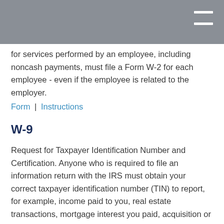for services performed by an employee, including noncash payments, must file a Form W-2 for each employee - even if the employee is related to the employer.
Form | Instructions
W-9
Request for Taxpayer Identification Number and Certification. Anyone who is required to file an information return with the IRS must obtain your correct taxpayer identification number (TIN) to report, for example, income paid to you, real estate transactions, mortgage interest you paid, acquisition or abandonment of secured property, cancellation of debt, or contributions you made to an IRA.